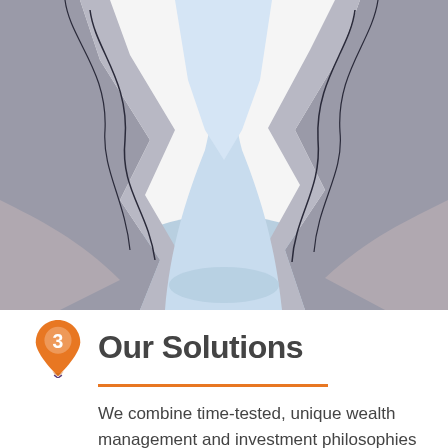[Figure (illustration): Illustration of a canyon or rocky gorge with light blue water/sky visible between two rocky cliff sides, viewed from below or at ground level. The rocks are grey and brown tones, the central area is light blue.]
Our Solutions
We combine time-tested, unique wealth management and investment philosophies with proprietary tools to help turn your financial complexity into personal clarity.